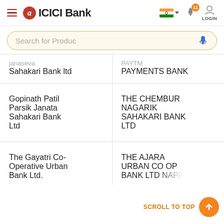ICICI Bank - hamburger menu, logo, flag, notification bell (11), login
Search for Produc
| Bank Name (left) | Bank Name (right) |
| --- | --- |
| janaseva Sahakari Bank ltd | PAYTM PAYMENTS BANK |
| Gopinath Patil Parsik Janata Sahakari Bank Ltd | THE CHEMBUR NAGARIK SAHAKARI BANK LTD |
| The Gayatri Co-Operative Urban Bank Ltd. | THE AJARA URBAN CO OP BANK LTD NAPA |